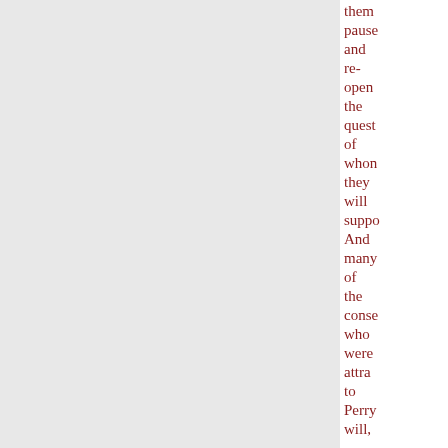them pause and re-open the quest of who they will supp And many of the cons who were attr to Perry will,